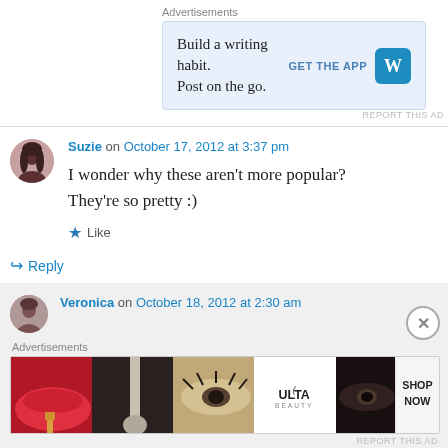Advertisements
[Figure (screenshot): WordPress advertisement banner: 'Build a writing habit. Post on the go.' with GET THE APP button and WordPress logo]
REPORT THIS AD
Suzie on October 17, 2012 at 3:37 pm
I wonder why these aren't more popular? They're so pretty :)
Like
Reply
Veronica on October 18, 2012 at 2:30 am
Advertisements
[Figure (screenshot): ULTA Beauty advertisement banner showing makeup products]
REPORT THIS AD